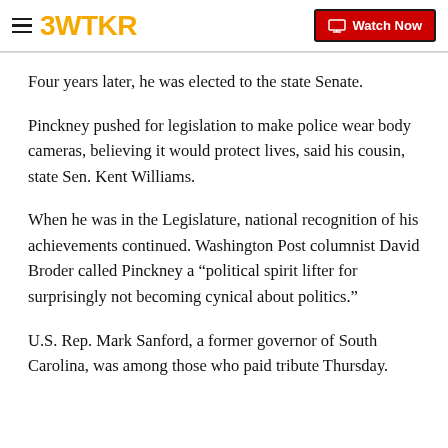3WTKR | Watch Now
Four years later, he was elected to the state Senate.
Pinckney pushed for legislation to make police wear body cameras, believing it would protect lives, said his cousin, state Sen. Kent Williams.
When he was in the Legislature, national recognition of his achievements continued. Washington Post columnist David Broder called Pinckney a “political spirit lifter for surprisingly not becoming cynical about politics.”
U.S. Rep. Mark Sanford, a former governor of South Carolina, was among those who paid tribute Thursday.